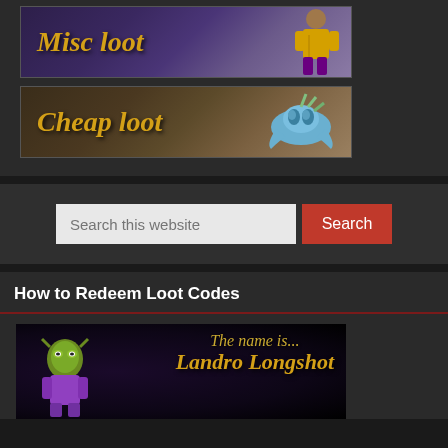[Figure (illustration): Misc Loot banner with fantasy game character in yellow and purple outfit against purple mystical background]
[Figure (illustration): Cheap Loot banner with blue fantasy creature/mount against brown/purple mystical background]
Search this website
Search
How to Redeem Loot Codes
[Figure (illustration): Landro Longshot banner: goblin character on left, text reads 'The name is... Landro Longshot' in gold italic fantasy font on black background]